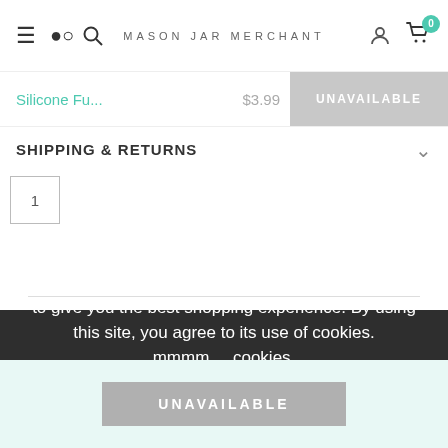MASON JAR MERCHANT
Silicone Fu... $3.99 UNAVAILABLE
SHIPPING & RETURNS
1
IF YOU LIKE THIS, YOU'LL LOVE THESE
Cookies are yummy. We use cookies on our website to give you the best shopping experience. By using this site, you agree to its use of cookies. mmmm.....cookies.
PRIVACY POLICY   ACCEPT ✓
UNAVAILABLE